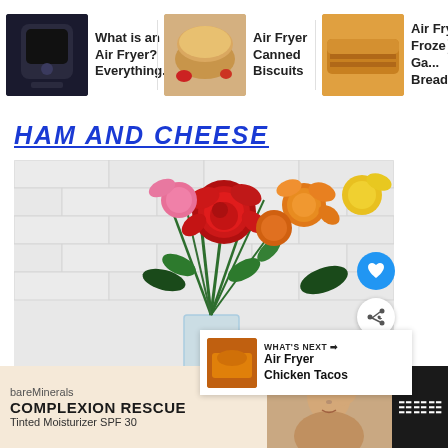What is an Air Fryer? Everything... | Air Fryer Canned Biscuits | Air Fryer Frozen Garlic Bread
HAM AND CHEESE
[Figure (photo): A bouquet of red, orange, and yellow roses in a clear glass vase against a white brick wall background, with a toasted sandwich visible at the bottom]
[Figure (screenshot): WHAT'S NEXT arrow Air Fryer Chicken Tacos thumbnail card]
[Figure (photo): bareMinerals advertisement: COMPLEXION RESCUE Tinted Moisturizer SPF 30, showing a woman touching her face]